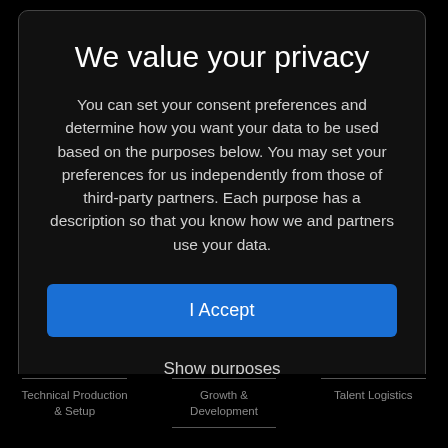We value your privacy
You can set your consent preferences and determine how you want your data to be used based on the purposes below. You may set your preferences for us independently from those of third-party partners. Each purpose has a description so that you know how we and partners use your data.
I Accept
Show purposes
Technical Production & Setup | Growth & Development | Talent Logistics